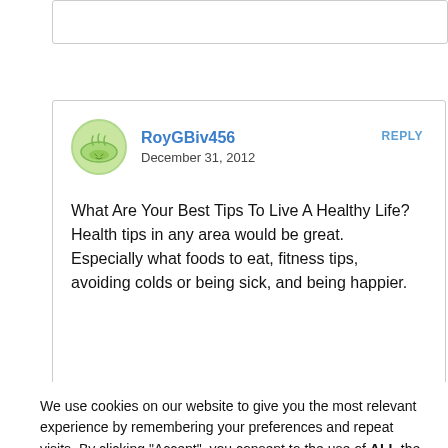RoyGBiv456
December 31, 2012
REPLY
What Are Your Best Tips To Live A Healthy Life?
Health tips in any area would be great. Especially what foods to eat, fitness tips, avoiding colds or being sick, and being happier.
We use cookies on our website to give you the most relevant experience by remembering your preferences and repeat visits. By clicking “Accept”, you consent to the use of ALL the cookies.
Do not sell my personal information.